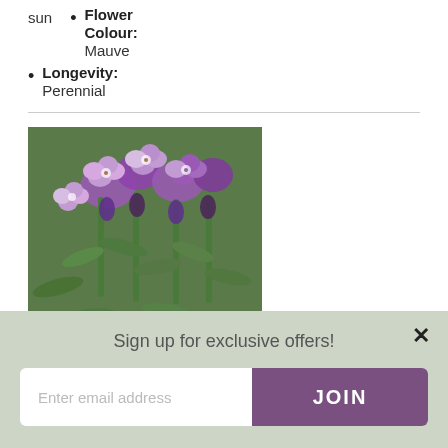Flower Colour: Mauve
Longevity: Perennial
[Figure (photo): Close-up photograph of mauve/purple flowering plant (Erysimum or similar) with green foliage and a logo badge in the bottom-left corner.]
Sign up for exclusive offers!
Enter email address
JOIN